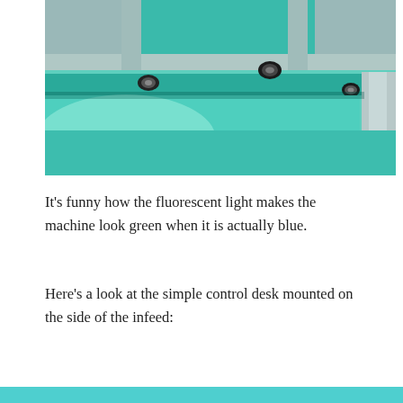[Figure (photo): Close-up photograph of the underside of a blue/teal industrial machine showing bolts, metal brackets, and structural supports. The fluorescent lighting gives the machine a greenish appearance despite it being blue.]
It's funny how the fluorescent light makes the machine look green when it is actually blue.
Here's a look at the simple control desk mounted on the side of the infeed: